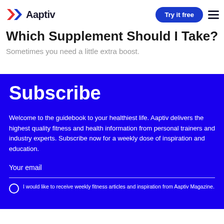Aaptiv | Try it free
Which Supplement Should I Take?
Sometimes you need a little extra boost.
Subscribe
Welcome to the guidebook to your healthiest life. Aaptiv delivers the highest quality fitness and health information from personal trainers and industry experts. Subscribe now for a weekly dose of inspiration and education.
Your email
I would like to receive weekly fitness articles and inspiration from Aaptiv Magazine.